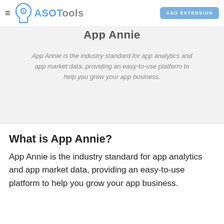ASOTools — ASO EXTENSION
App Annie
App Annie is the industry standard for app analytics and app market data, providing an easy-to-use platform to help you grow your app business.
What is App Annie?
App Annie is the industry standard for app analytics and app market data, providing an easy-to-use platform to help you grow your app business.